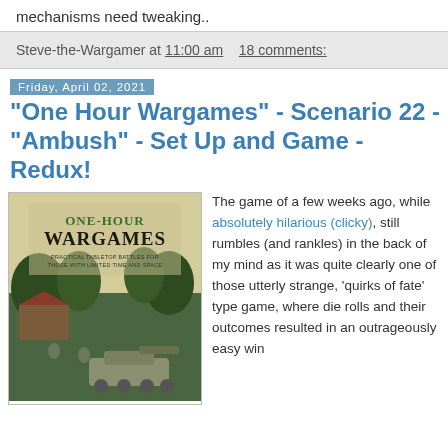mechanisms need tweaking..
Steve-the-Wargamer at 11:00 am   18 comments:
Friday, April 02, 2021
"One Hour Wargames" - Scenario 22 - "Ambush" - Set Up and Game - Redux!
[Figure (photo): Book cover of 'One-Hour Wargames: Practical Tabletop Battles for Those with Limited Time and Space' with soldiers and a tank in a forest scene]
The game of a few weeks ago, while absolutely hilarious (clicky), still rumbles (and rankles) in the back of my mind as it was quite clearly one of those utterly strange, 'quirks of fate' type game, where die rolls and their outcomes resulted in an outrageously easy win